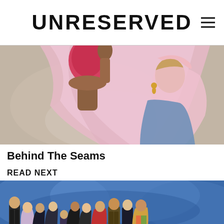UNRESERVED
[Figure (photo): Fashion photo of two models with pink/red hair and pink fabric draped over them]
Behind The Seams
READ NEXT
[Figure (photo): Group of people in formal wear on a stage with blue background, appears to be an awards show]